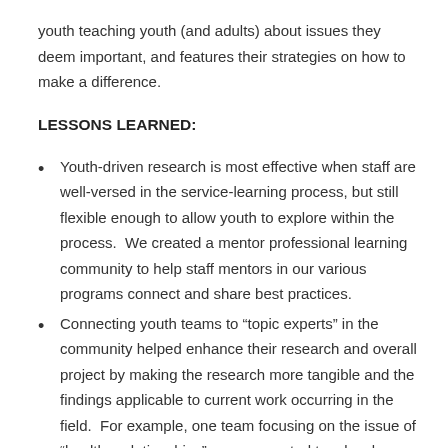youth teaching youth (and adults) about issues they deem important, and features their strategies on how to make a difference.
LESSONS LEARNED:
Youth-driven research is most effective when staff are well-versed in the service-learning process, but still flexible enough to allow youth to explore within the process.  We created a mentor professional learning community to help staff mentors in our various programs connect and share best practices.
Connecting youth teams to “topic experts” in the community helped enhance their research and overall project by making the research more tangible and the findings applicable to current work occurring in the field.  For example, one team focusing on the issue of “healthy relationships” was connected to a local domestic violence